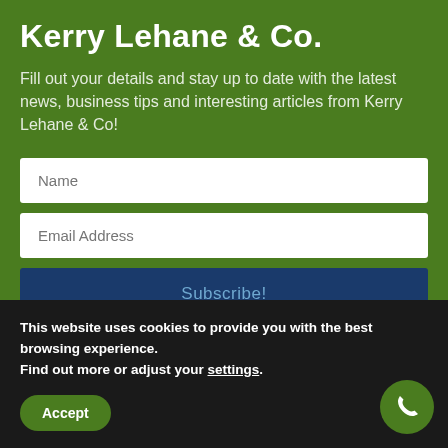Kerry Lehane & Co.
Fill out your details and stay up to date with the latest news, business tips and interesting articles from Kerry Lehane & Co!
[Figure (screenshot): Web form with Name input field, Email Address input field, and a Subscribe! button on a green background]
This website uses cookies to provide you with the best browsing experience.
Find out more or adjust your settings.
Accept